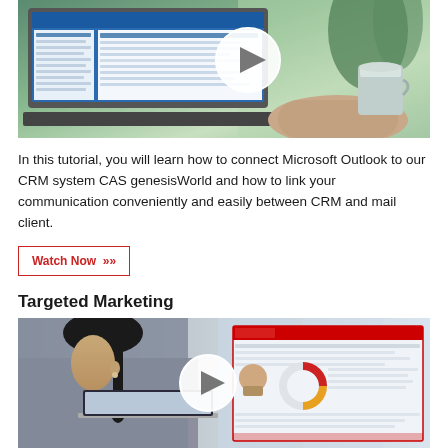[Figure (screenshot): Laptop with Microsoft Outlook CRM interface open, person's hand on trackpad, coffee cup in background, with circular play button overlay]
In this tutorial, you will learn how to connect Microsoft Outlook to our CRM system CAS genesisWorld and how to link your communication conveniently and easily between CRM and mail client.
Watch Now »
Targeted Marketing
[Figure (screenshot): Woman with dark ponytail working on laptop with CRM genesisWorld interface visible on screen, with circular play button overlay]